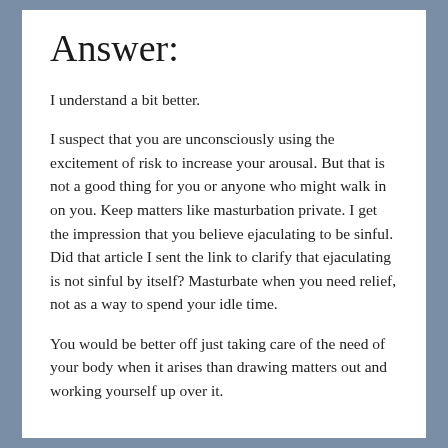Answer:
I understand a bit better.
I suspect that you are unconsciously using the excitement of risk to increase your arousal. But that is not a good thing for you or anyone who might walk in on you. Keep matters like masturbation private. I get the impression that you believe ejaculating to be sinful. Did that article I sent the link to clarify that ejaculating is not sinful by itself? Masturbate when you need relief, not as a way to spend your idle time.
You would be better off just taking care of the need of your body when it arises than drawing matters out and working yourself up over it.